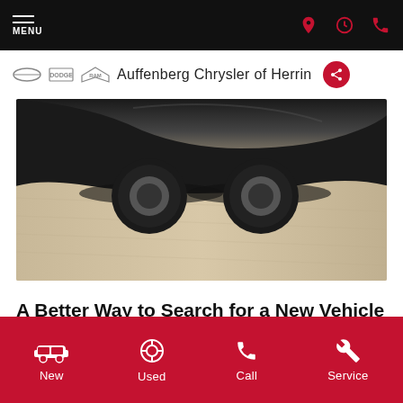MENU
Auffenberg Chrysler of Herrin
[Figure (photo): Close-up photo of a black vehicle's lower body/tires on a light beige/grey surface, viewed from above]
A Better Way to Search for a New Vehicle in Herrin, IL
At Auffenberg Chrysler of Herrin, we love making it easy to
New  Used  Call  Service